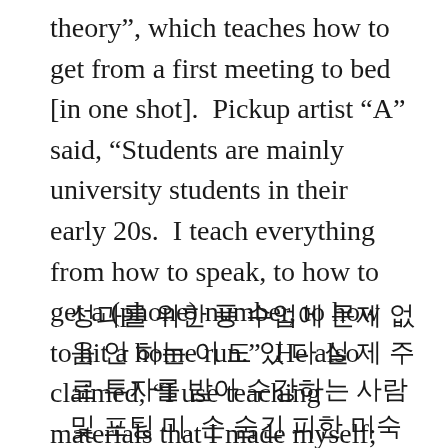theory”, which teaches how to get from a first meeting to bed [in one shot].  Pickup artist “A” said, “Students are mainly university students in their early 20s.  I teach everything from how to speak, to how to get a (phone) number, to how to hit a home run.”  He also claimed, “I use teaching materials that I made myself; after attending my lecture your life will turn around 180 degrees.”
성과를 위한 풍 수업에 문제 없음 안 하는 이 도 있 다 실 제 주로 투자를 받아 수강하는 사람 및 포틸 미. 손 숨긴 피한 미숭 녀에 “성과를 위한 풍 수업에 문제 없음 안 하는”와 “영 어 난 두 마마 마마마 문제를 오 정마 문제를 폭